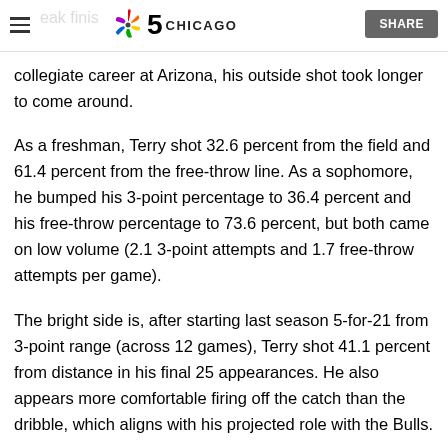NBC 5 CHICAGO | SHARE
collegiate career at Arizona, his outside shot took longer to come around.
As a freshman, Terry shot 32.6 percent from the field and 61.4 percent from the free-throw line. As a sophomore, he bumped his 3-point percentage to 36.4 percent and his free-throw percentage to 73.6 percent, but both came on low volume (2.1 3-point attempts and 1.7 free-throw attempts per game).
The bright side is, after starting last season 5-for-21 from 3-point range (across 12 games), Terry shot 41.1 percent from distance in his final 25 appearances. He also appears more comfortable firing off the catch than the dribble, which aligns with his projected role with the Bulls.